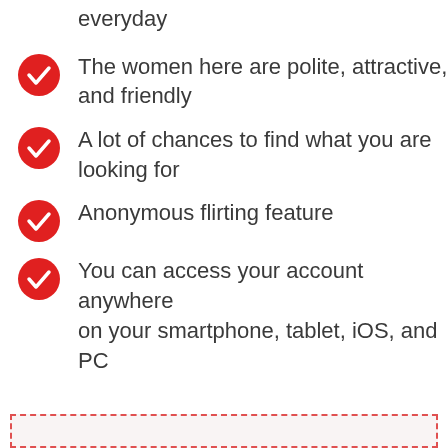everyday
The women here are polite, attractive, and friendly
A lot of chances to find what you are looking for
Anonymous flirting feature
You can access your account anywhere on your smartphone, tablet, iOS, and PC